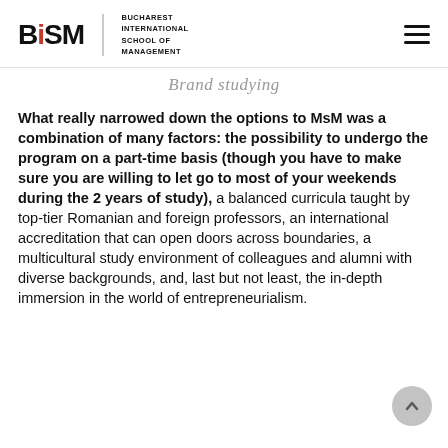BiSM – BUCHAREST INTERNATIONAL SCHOOL OF MANAGEMENT
Brand studying
What really narrowed down the options to MsM was a combination of many factors: the possibility to undergo the program on a part-time basis (though you have to make sure you are willing to let go to most of your weekends during the 2 years of study), a balanced curricula taught by top-tier Romanian and foreign professors, an international accreditation that can open doors across boundaries, a multicultural study environment of colleagues and alumni with diverse backgrounds, and, last but not least, the in-depth immersion in the world of entrepreneurialism.